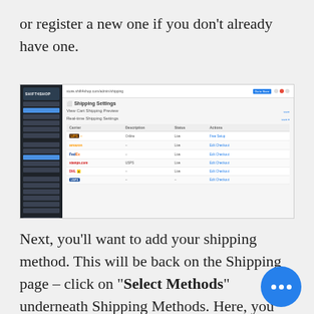or register a new one if you don't already have one.
[Figure (screenshot): Screenshot of a Shipping Settings admin panel showing Real-time Shipping Settings with multiple carriers: UPS, Amazon, FedEx, USPS/Stamps, DHL, and others listed in a table with columns for carrier, description, status, and actions.]
Next, you'll want to add your shipping method. This will be back on the Shipping page – click on "Select Methods" underneath Shipping Methods. Here, you can add free shipping, flat rate shipping, and custom shipping to your online